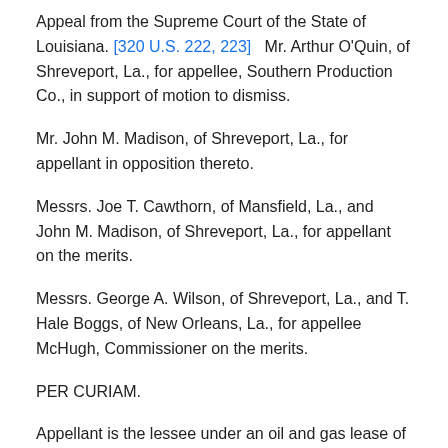Appeal from the Supreme Court of the State of Louisiana. [320 U.S. 222, 223]   Mr. Arthur O'Quin, of Shreveport, La., for appellee, Southern Production Co., in support of motion to dismiss.
Mr. John M. Madison, of Shreveport, La., for appellant in opposition thereto.
Messrs. Joe T. Cawthorn, of Mansfield, La., and John M. Madison, of Shreveport, La., for appellant on the merits.
Messrs. George A. Wilson, of Shreveport, La., and T. Hale Boggs, of New Orleans, La., for appellee McHugh, Commissioner on the merits.
PER CURIAM.
Appellant is the lessee under an oil and gas lease of 190 acres in the Logansport Field in Louisiana. Under permit